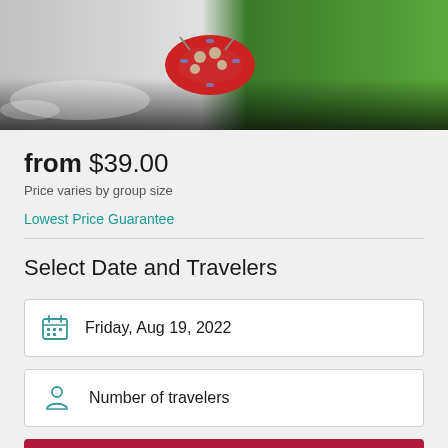[Figure (photo): Hero image showing people white water rafting on left and green vegetation on right, with dark gradient overlay at bottom]
from $39.00
Price varies by group size
Lowest Price Guarantee
Select Date and Travelers
Friday, Aug 19, 2022
Number of travelers
Check Availability